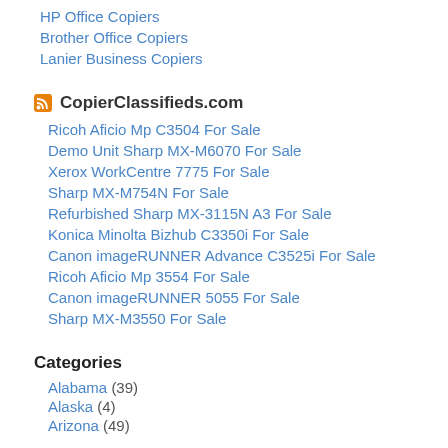HP Office Copiers
Brother Office Copiers
Lanier Business Copiers
CopierClassifieds.com
Ricoh Aficio Mp C3504 For Sale
Demo Unit Sharp MX-M6070 For Sale
Xerox WorkCentre 7775 For Sale
Sharp MX-M754N For Sale
Refurbished Sharp MX-3115N A3 For Sale
Konica Minolta Bizhub C3350i For Sale
Canon imageRUNNER Advance C3525i For Sale
Ricoh Aficio Mp 3554 For Sale
Canon imageRUNNER 5055 For Sale
Sharp MX-M3550 For Sale
Categories
Alabama (39)
Alaska (4)
Arizona (49)